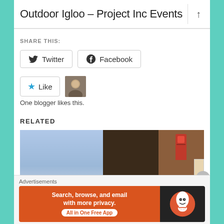Outdoor Igloo – Project Inc Events
SHARE THIS:
Twitter  Facebook
Like  One blogger likes this.
RELATED
[Figure (photo): A related post image showing a clear blue sky on the left and a dark wooden shed with a popcorn machine on the right]
Advertisements
[Figure (screenshot): DuckDuckGo advertisement banner: Search, browse, and email with more privacy. All in One Free App — with DuckDuckGo logo]